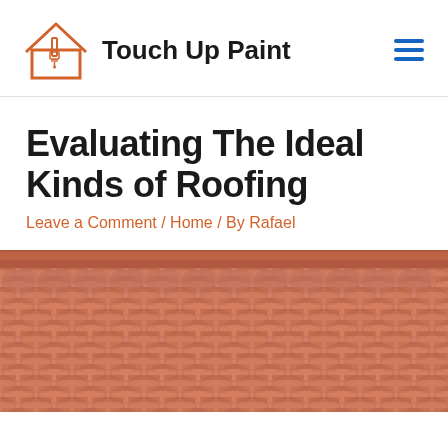Touch Up Paint
Evaluating The Ideal Kinds of Roofing
Leave a Comment / Home / By Rafael
[Figure (photo): Close-up photo of terracotta roof tiles arranged in overlapping rows, showing a typical clay tile roofing pattern in an orange/salmon color.]